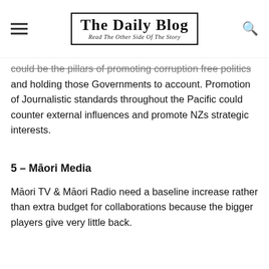The Daily Blog — Read The Other Side Of The Story
could be the pillars of promoting corruption free politics and holding those Governments to account. Promotion of Journalistic standards throughout the Pacific could counter external influences and promote NZs strategic interests.
5 – Māori Media
Māori TV & Māori Radio need a baseline increase rather than extra budget for collaborations because the bigger players give very little back.